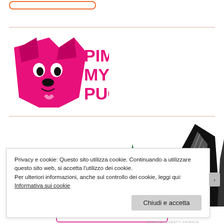[Figure (logo): Pimp My Pug logo with pink pug icon and hot pink text reading PIMP MY PUG]
[Figure (illustration): Stylized illustration of a pug dog's face seen from above, with green and black pointed ears/features]
Privacy e cookie: Questo sito utilizza cookie. Continuando a utilizzare questo sito web, si accetta l'utilizzo dei cookie.
Per ulteriori informazioni, anche sul controllo dei cookie, leggi qui:
Informativa sui cookie
Chiudi e accetta